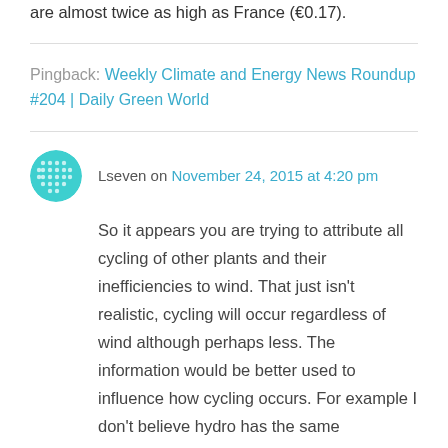are almost twice as high as France (€0.17).
Pingback: Weekly Climate and Energy News Roundup #204 | Daily Green World
Lseven on November 24, 2015 at 4:20 pm
So it appears you are trying to attribute all cycling of other plants and their inefficiencies to wind. That just isn't realistic, cycling will occur regardless of wind although perhaps less. The information would be better used to influence how cycling occurs. For example I don't believe hydro has the same inefficiencies regarding cycling and certainly not in regard to CO2. No